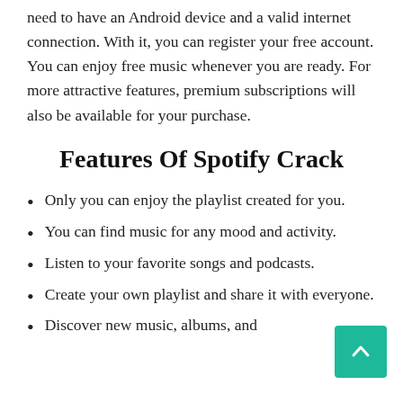need to have an Android device and a valid internet connection. With it, you can register your free account. You can enjoy free music whenever you are ready. For more attractive features, premium subscriptions will also be available for your purchase.
Features Of Spotify Crack
Only you can enjoy the playlist created for you.
You can find music for any mood and activity.
Listen to your favorite songs and podcasts.
Create your own playlist and share it with everyone.
Discover new music, albums, and...